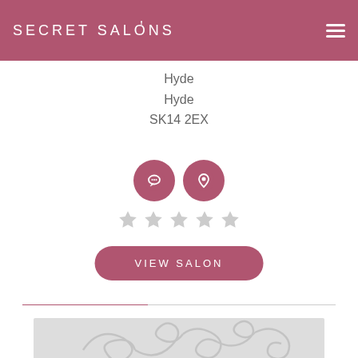SECRET SALONS
Hyde
Hyde
SK14 2EX
[Figure (other): Two circular pink icons: a chat/message bubble icon and a map pin/location icon]
[Figure (other): Five grey star rating icons (empty/unrated)]
VIEW SALON
[Figure (illustration): Light grey decorative swirl/flourish illustration on grey background]